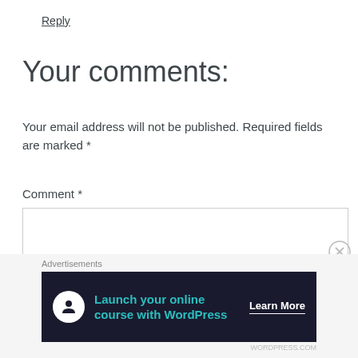Reply
Your comments:
Your email address will not be published. Required fields are marked *
Comment *
[Figure (screenshot): Empty comment text area input box with border]
Advertisements
[Figure (infographic): Advertisement banner: Launch your online course with WordPress. Learn More button.]